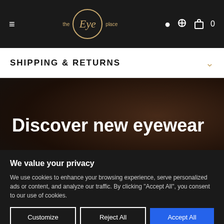the Eye place — navigation bar with hamburger menu, logo, search, cart (0)
SHIPPING & RETURNS
Discover new eyewear
We value your privacy
We use cookies to enhance your browsing experience, serve personalized ads or content, and analyze our traffic. By clicking "Accept All", you consent to our use of cookies.
Customize
Reject All
Accept All